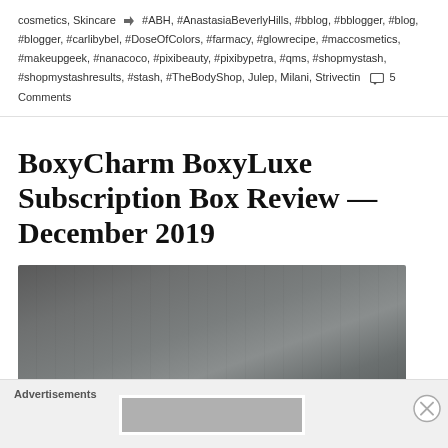cosmetics, Skincare  #ABH, #AnastasiaBeverlyHills, #bblog, #bblogger, #blog, #blogger, #carlibybel, #DoseOfColors, #farmacy, #glowrecipe, #maccosmetics, #makeupgeek, #nanacoco, #pixibeauty, #pixibypetra, #qms, #shopmystash, #shopmystashresults, #stash, #TheBodyShop, Julep, Milani, Strivectin  5 Comments
BoxyCharm BoxyLuxe Subscription Box Review — December 2019
[Figure (photo): Top view of a dark grey/charcoal BoxyLuxe subscription box with a white rectangular label outline visible on the front face of the box.]
Advertisements